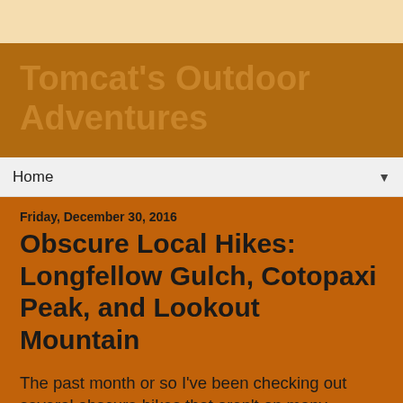Tomcat's Outdoor Adventures
Tomcat's Outdoor Adventures
Home
Friday, December 30, 2016
Obscure Local Hikes: Longfellow Gulch, Cotopaxi Peak, and Lookout Mountain
The past month or so I've been checking out several obscure hikes that aren't on many people's radar.  I'm sure a lot of people never heard my destinations outside of the local area, if at all.  I enjoy visiting these off the beaten path places.  Often these places are lower in elevation and good to explore in the off season.